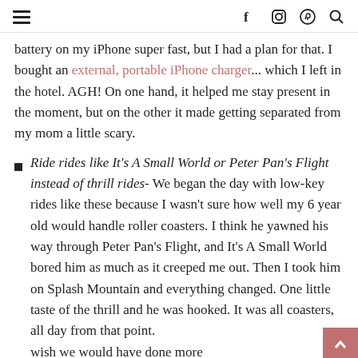≡  f  Instagram  Pinterest  Search
battery on my iPhone super fast, but I had a plan for that. I bought an external, portable iPhone charger... which I left in the hotel. AGH! On one hand, it helped me stay present in the moment, but on the other it made getting separated from my mom a little scary.
Ride rides like It's A Small World or Peter Pan's Flight instead of thrill rides- We began the day with low-key rides like these because I wasn't sure how well my 6 year old would handle roller coasters. I think he yawned his way through Peter Pan's Flight, and It's A Small World bored him as much as it creeped me out. Then I took him on Splash Mountain and everything changed. One little taste of the thrill and he was hooked. It was all coasters, all day from that point. wish we would have done more
wish we would have done more